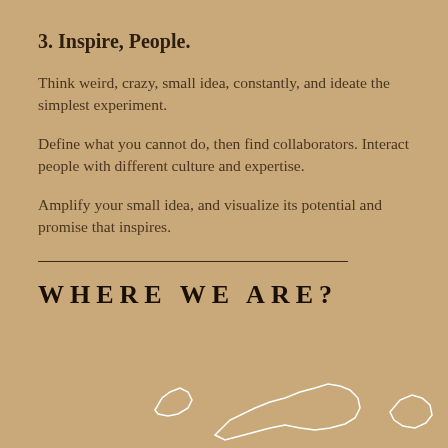3. Inspire, People.
Think weird, crazy, small idea, constantly, and ideate the simplest experiment.
Define what you cannot do, then find collaborators. Interact people with different culture and expertise.
Amplify your small idea, and visualize its potential and promise that inspires.
WHERE WE ARE?
[Figure (map): Partial map outline of Japan showing geographic regions in white line drawing on tan/brown background]